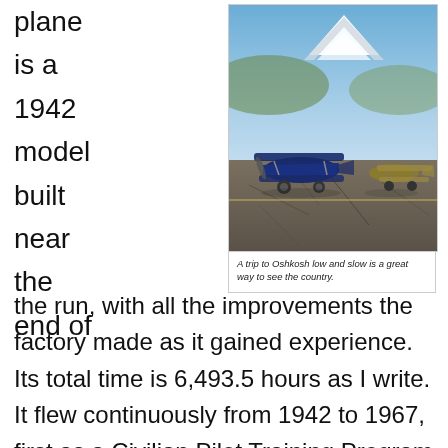plane is a 1942 model built near the end of
[Figure (photo): Two vintage biplane aircraft parked on a tarmac with a snow-capped mountain in the background under a blue sky.]
A trip to Oshkosh low and slow is a great way to see the country.
the run, with all the improvements the factory made as it gained experience. Its total time is 6,493.5 hours as I write. It flew continuously from 1942 to 1967, first as a Civilian Pilot Training Program trainer, and later as a college flight school and then